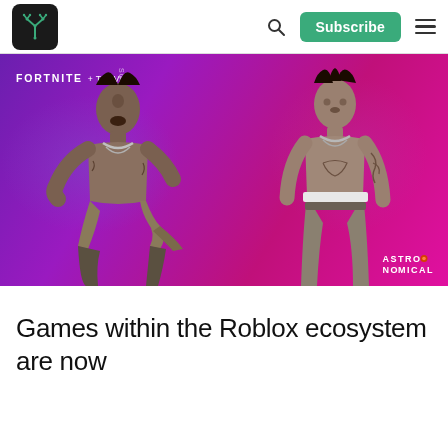Navigation bar with logo, search, Subscribe button, and hamburger menu
[Figure (screenshot): Fortnite x Travis Scott Astronomical promotional image showing two 3D character skins of Travis Scott against a purple and magenta gradient background. Left character is in a dynamic pose with one knee raised; right character stands upright. Fortnite logo and 'ASTRONOMICAL' watermark visible.]
Games within the Roblox ecosystem are now